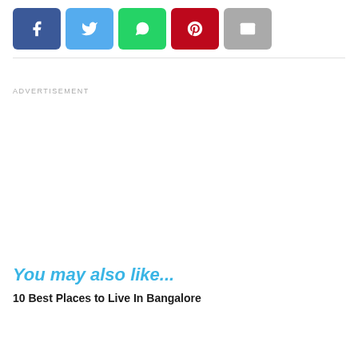[Figure (other): Social share bar with Facebook (blue), Twitter (light blue), WhatsApp (green), Pinterest (red), and Email (gray) icon buttons]
ADVERTISEMENT
You may also like...
10 Best Places to Live In Bangalore